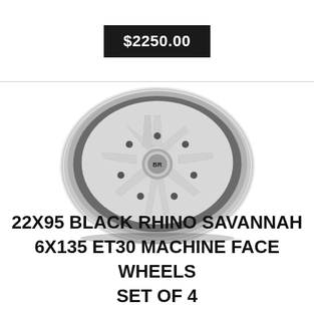$2250.00
[Figure (photo): A chrome/silver multi-spoke alloy wheel (Black Rhino Savannah) with machined face finish, shown at a slight angle. The center cap has 'BR' branding. The wheel has 10 spokes and a polished outer lip.]
22X95 BLACK RHINO SAVANNAH 6X135 ET30 MACHINE FACE WHEELS SET OF 4